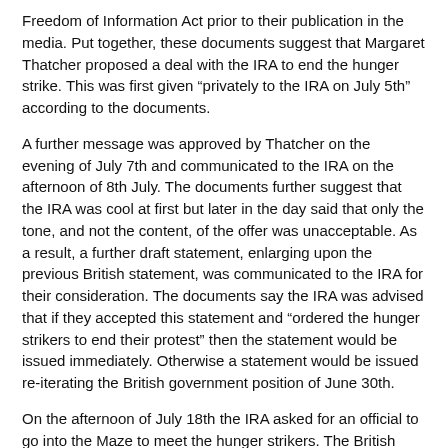Freedom of Information Act prior to their publication in the media. Put together, these documents suggest that Margaret Thatcher proposed a deal with the IRA to end the hunger strike. This was first given “privately to the IRA on July 5th” according to the documents.
A further message was approved by Thatcher on the evening of July 7th and communicated to the IRA on the afternoon of 8th July. The documents further suggest that the IRA was cool at first but later in the day said that only the tone, and not the content, of the offer was unacceptable. As a result, a further draft statement, enlarging upon the previous British statement, was communicated to the IRA for their consideration. The documents say the IRA was advised that if they accepted this statement and “ordered the hunger strikers to end their protest” then the statement would be issued immediately. Otherwise a statement would be issued re-iterating the British government position of June 30th.
On the afternoon of July 18th the IRA asked for an official to go into the Maze to meet the hunger strikers. The British intention was that the official would explain the offer on clothes set out above and clarify a previous private offer on work. However, after some discussion, the British decided not to proceed without a prior indication of acceptance by the IRA. The documents clearly support Richard’s version of events and disputes the SF version of no offers of substance.
We once again spoke to senior members of the 1981 IRSP/INLA, the H-Block